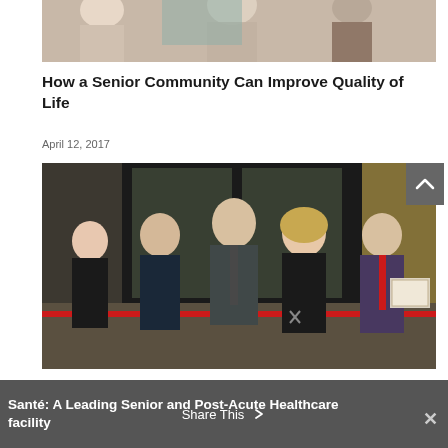[Figure (photo): Partial view of group of people, cropped at top of page]
How a Senior Community Can Improve Quality of Life
April 12, 2017
[Figure (photo): Ribbon-cutting ceremony with five people in front of a building entrance; a woman in the center cuts a red ribbon while a man holds a plaque]
Santé: A Leading Senior and Post-Acute Healthcare facility